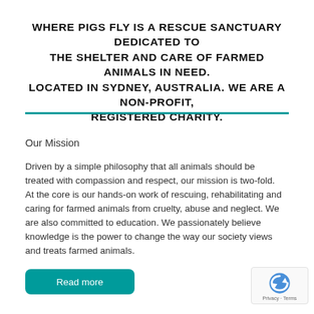WHERE PIGS FLY IS A RESCUE SANCTUARY DEDICATED TO THE SHELTER AND CARE OF FARMED ANIMALS IN NEED. LOCATED IN SYDNEY, AUSTRALIA. WE ARE A NON-PROFIT, REGISTERED CHARITY.
Our Mission
Driven by a simple philosophy that all animals should be treated with compassion and respect, our mission is two-fold. At the core is our hands-on work of rescuing, rehabilitating and caring for farmed animals from cruelty, abuse and neglect. We are also committed to education. We passionately believe knowledge is the power to change the way our society views and treats farmed animals.
Read more